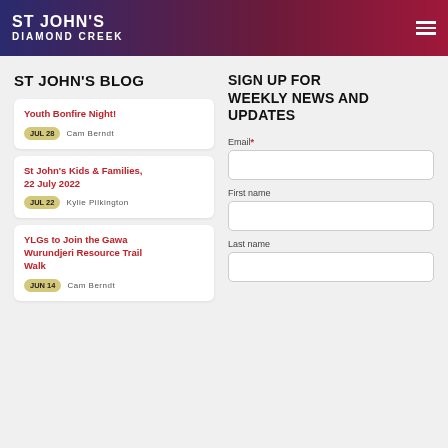ST JOHN'S DIAMOND CREEK
ST JOHN'S BLOG
Youth Bonfire Night!
JUL 28  Cam Berndt
St John's Kids & Families, 22 July 2022
JUL 22  Kylie Pilkington
YLGs to Join the Gawa Wurundjeri Resource Trail Walk
JUN 14  Cam Berndt
SIGN UP FOR WEEKLY NEWS AND UPDATES
Email*
First name
Last name